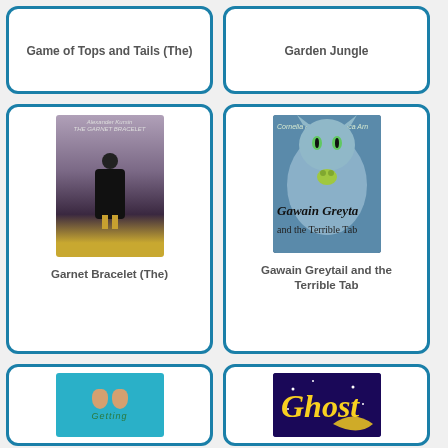[Figure (illustration): Book card for 'Game of Tops and Tails (The)' - top portion of card visible with title only]
Game of Tops and Tails (The)
[Figure (illustration): Book card for 'Garden Jungle' - top portion of card visible with title only]
Garden Jungle
[Figure (illustration): Book card for 'Garnet Bracelet (The)' with book cover image showing a cloaked figure]
Garnet Bracelet (The)
[Figure (illustration): Book card for 'Gawain Greytail and the Terrible Tab' with book cover showing a cat, authors Cornelia Funke and Monica Arnaldo]
Gawain Greytail and the Terrible Tab
[Figure (illustration): Book card for 'Getting' (partial) with turquoise cover showing feet]
[Figure (illustration): Book card for 'Ghost' (partial) with dark cover showing yellow ghost text]